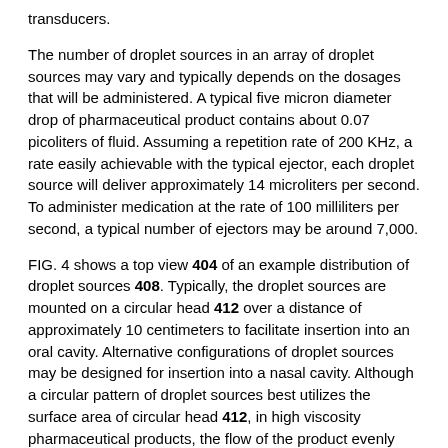transducers.
The number of droplet sources in an array of droplet sources may vary and typically depends on the dosages that will be administered. A typical five micron diameter drop of pharmaceutical product contains about 0.07 picoliters of fluid. Assuming a repetition rate of 200 KHz, a rate easily achievable with the typical ejector, each droplet source will deliver approximately 14 microliters per second. To administer medication at the rate of 100 milliliters per second, a typical number of ejectors may be around 7,000.
FIG. 4 shows a top view 404 of an example distribution of droplet sources 408. Typically, the droplet sources are mounted on a circular head 412 over a distance of approximately 10 centimeters to facilitate insertion into an oral cavity. Alternative configurations of droplet sources may be designed for insertion into a nasal cavity. Although a circular pattern of droplet sources best utilizes the surface area of circular head 412, in high viscosity pharmaceutical products, the flow of the product evenly across a circular pattern may prove difficult. Thus, in an alternate embodiment, a more linear pattern of droplet